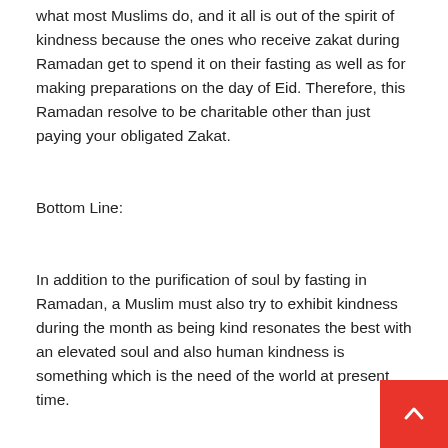what most Muslims do, and it all is out of the spirit of kindness because the ones who receive zakat during Ramadan get to spend it on their fasting as well as for making preparations on the day of Eid. Therefore, this Ramadan resolve to be charitable other than just paying your obligated Zakat.
Bottom Line:
In addition to the purification of soul by fasting in Ramadan, a Muslim must also try to exhibit kindness during the month as being kind resonates the best with an elevated soul and also human kindness is something which is the need of the world at present time.